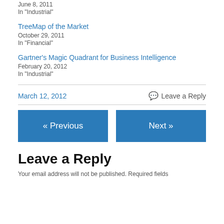June 8, 2011
In "Industrial"
TreeMap of the Market
October 29, 2011
In "Financial"
Gartner’s Magic Quadrant for Business Intelligence
February 20, 2012
In "Industrial"
March 12, 2012
Leave a Reply
« Previous
Next »
Leave a Reply
Your email address will not be published. Required fields